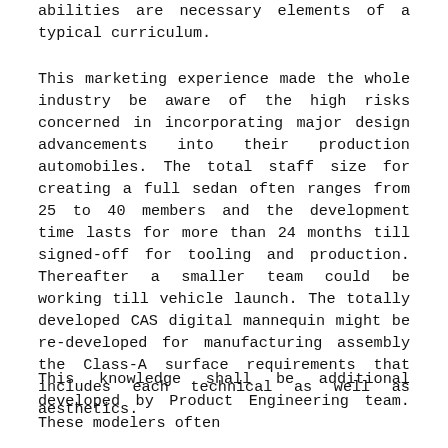abilities are necessary elements of a typical curriculum.
This marketing experience made the whole industry be aware of the high risks concerned in incorporating major design advancements into their production automobiles. The total staff size for creating a full sedan often ranges from 25 to 40 members and the development time lasts for more than 24 months till signed-off for tooling and production. Thereafter a smaller team could be working till vehicle launch. The totally developed CAS digital mannequin might be re-developed for manufacturing assembly the Class-A surface requirements that includes each technical as well as aesthetics.
This knowledge shall be additional developed by Product Engineering team. These modelers often